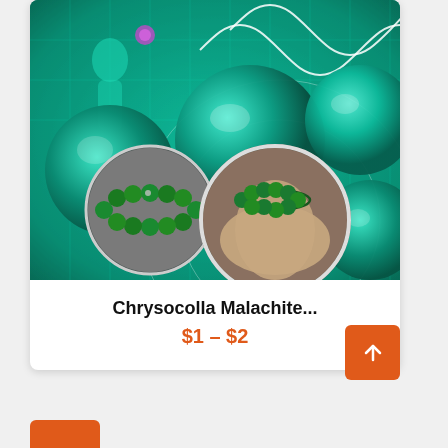[Figure (photo): Product card showing Chrysocolla Malachite stone spheres on a teal background with scientific/energy wave graphics. Two circular inset images show green bead bracelets, one laid flat and one worn on a wrist.]
Chrysocolla Malachite...
$1 – $2